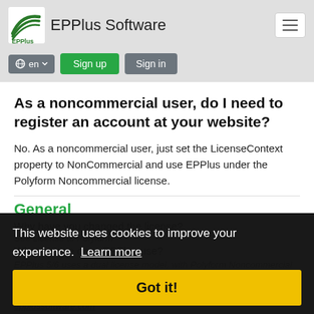EPPlus Software
en  Sign up  Sign in
As a noncommercial user, do I need to register an account at your website?
No. As a noncommercial user, just set the LicenseContext property to NonCommercial and use EPPlus under the Polyform Noncommercial license.
General
Why have you changed the license?
See License to Polyform
What license does EPPlus use?
EPPlus 5/6 uses a dual license model, with Polyform Noncommercial as the community license and a commercial license for commercial businesses. The commercial license can be purchased at epplussoftware.com
This website uses cookies to improve your experience.  Learn more
Got it!